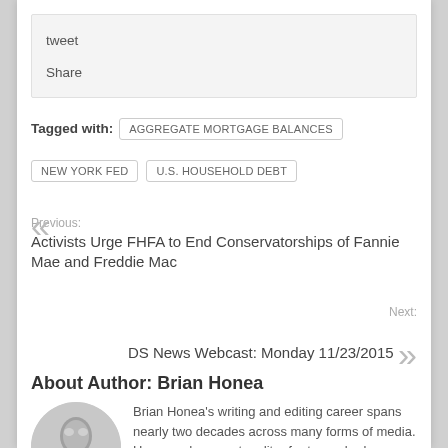tweet
Share
Tagged with: AGGREGATE MORTGAGE BALANCES NEW YORK FED U.S. HOUSEHOLD DEBT
Previous: Activists Urge FHFA to End Conservatorships of Fannie Mae and Freddie Mac
Next: DS News Webcast: Monday 11/23/2015
About Author: Brian Honea
Brian Honea's writing and editing career spans nearly two decades across many forms of media. He served as sports editor for two suburban newspaper chains in the